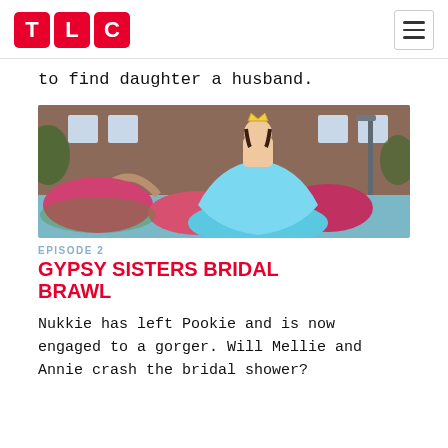TLC
to find daughter a husband.
[Figure (photo): Woman in a large turquoise ball gown and crown standing in front of a brick building with pink flowers]
EPISODE 2
GYPSY SISTERS BRIDAL BRAWL
Nukkie has left Pookie and is now engaged to a gorger. Will Mellie and Annie crash the bridal shower?